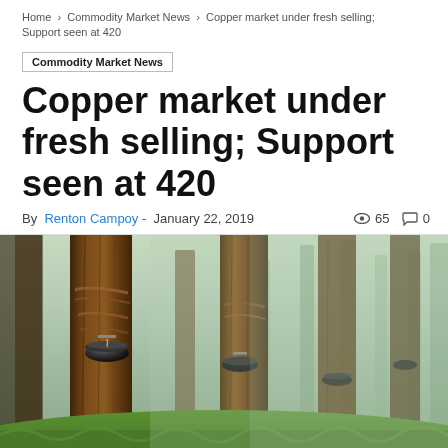Home > Commodity Market News > Copper market under fresh selling; Support seen at 420
Commodity Market News
Copper market under fresh selling; Support seen at 420
By Renton Campoy - January 22, 2019   65   0
[Figure (photo): Rubber trees in a plantation with tapping cups attached to collect latex, foggy forest background with green grass ground cover]